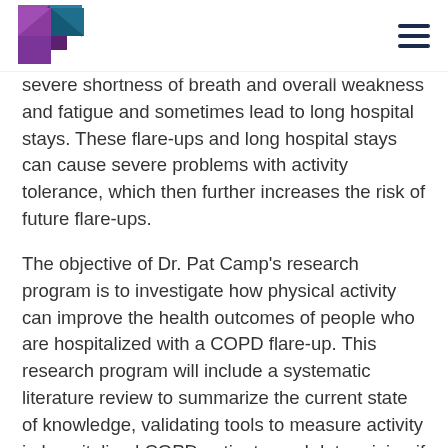[Logo: MSFHR] [hamburger menu icon]
severe shortness of breath and overall weakness and fatigue and sometimes lead to long hospital stays. These flare-ups and long hospital stays can cause severe problems with activity tolerance, which then further increases the risk of future flare-ups.
The objective of Dr. Pat Camp's research program is to investigate how physical activity can improve the health outcomes of people who are hospitalized with a COPD flare-up. This research program will include a systematic literature review to summarize the current state of knowledge, validating tools to measure activity in hospitalized COPD patients, and determining if exercise programs for hospitalized patients can improve their quality